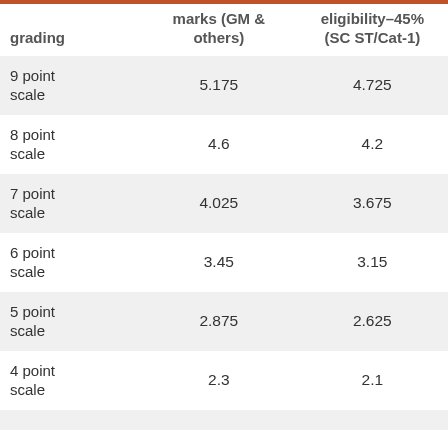| grading | marks (GM & others) | eligibility–45% (SC ST/Cat-1) |
| --- | --- | --- |
| 9 point scale | 5.175 | 4.725 |
| 8 point scale | 4.6 | 4.2 |
| 7 point scale | 4.025 | 3.675 |
| 6 point scale | 3.45 | 3.15 |
| 5 point scale | 2.875 | 2.625 |
| 4 point scale | 2.3 | 2.1 |